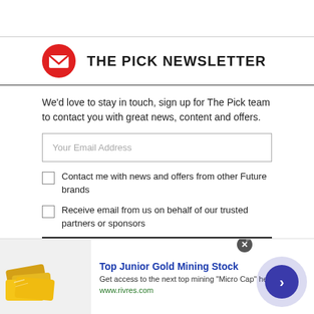THE PICK NEWSLETTER
We'd love to stay in touch, sign up for The Pick team to contact you with great news, content and offers.
Your Email Address
Contact me with news and offers from other Future brands
Receive email from us on behalf of our trusted partners or sponsors
SIGN ME UP
[Figure (infographic): Advertisement banner for Top Junior Gold Mining Stock showing gold bars image, text 'Top Junior Gold Mining Stock', 'Get access to the next top mining "Micro Cap" here!', 'www.rivres.com', with close button and arrow navigation button]